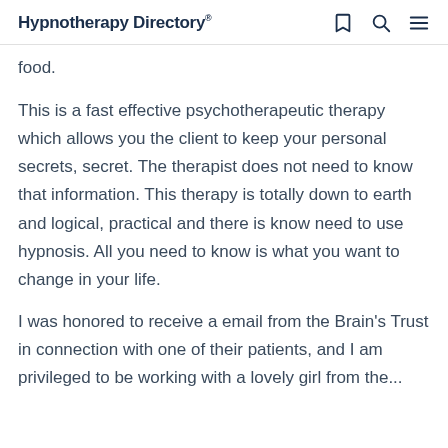Hypnotherapy Directory
food.
This is a fast effective psychotherapeutic therapy which allows you the client to keep your personal secrets, secret. The therapist does not need to know that information. This therapy is totally down to earth and logical, practical and there is know need to use hypnosis. All you need to know is what you want to change in your life.
I was honored to receive a email from the Brain's Trust in connection with one of their patients, and I am privileged to be working with a lovely girl from the...